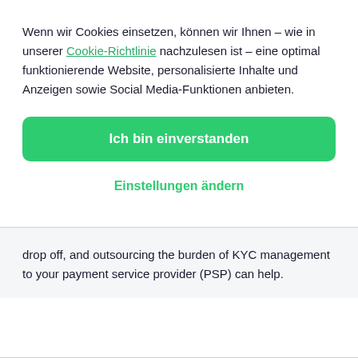Wenn wir Cookies einsetzen, können wir Ihnen – wie in unserer Cookie-Richtlinie nachzulesen ist – eine optimal funktionierende Website, personalisierte Inhalte und Anzeigen sowie Social Media-Funktionen anbieten.
Ich bin einverstanden
Einstellungen ändern
drop off, and outsourcing the burden of KYC management to your payment service provider (PSP) can help.